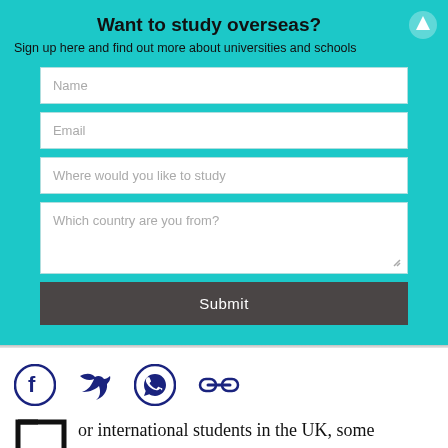Want to study overseas?
Sign up here and find out more about universities and schools
[Figure (screenshot): Web signup form with fields for Name, Email, Where would you like to study, Which country are you from?, and a Submit button, on a teal background]
[Figure (infographic): Social media share icons: Facebook, Twitter, WhatsApp, and a link/chain icon]
or international students in the UK, some